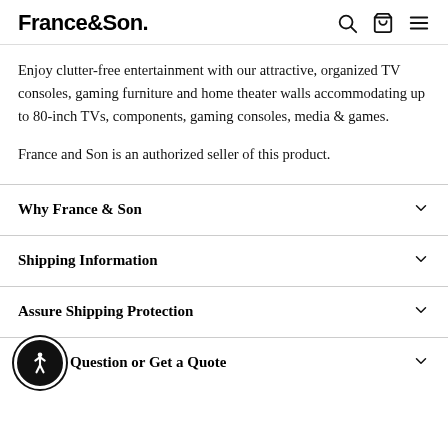France&Son.
Enjoy clutter-free entertainment with our attractive, organized TV consoles, gaming furniture and home theater walls accommodating up to 80-inch TVs, components, gaming consoles, media & games.
France and Son is an authorized seller of this product.
Why France & Son
Shipping Information
Assure Shipping Protection
Question or Get a Quote